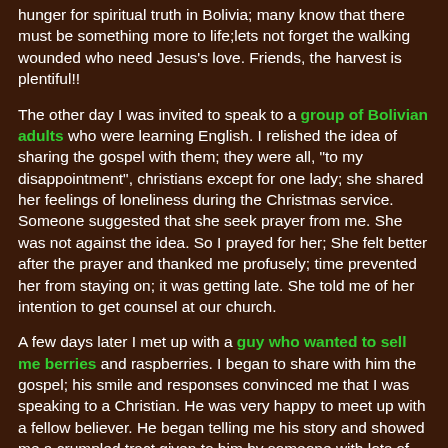hunger for spiritual truth in Bolivia; many know that there must be something more to life;lets not forget the walking wounded who need Jesus's love. Friends, the harvest is plentiful!!
The other day I was invited to speak to a group of Bolivian adults who were learning English. I relished the idea of sharing the gospel with them; they were all, "to my disappointment", christians except for one lady; she shared her feelings of loneliness during the Christmas service. Someone suggested that she seek prayer from me. She was not against the idea. So I prayed for her; She felt better after the prayer and thanked me profusely; time prevented her from staying on; it was getting late. She told me of her intention to get counsel at our church.
A few days later I met up with a guy who wanted to sell me berries and raspberries. I began to share with him the gospel; his smile and responses convinced me that I was speaking to a Christian. He was very happy to meet up with a fellow believer. He began telling me his story and showed me a crumpled tract given to him by someone with lots of